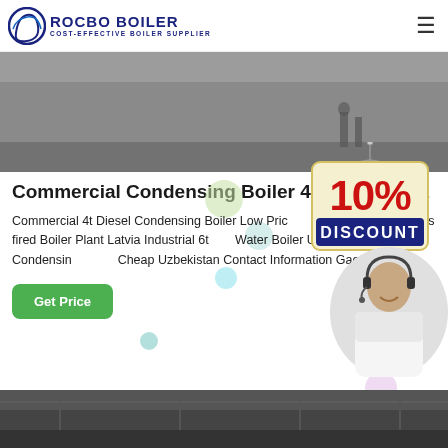ROCBO BOILER — COST-EFFECTIVE BOILER SUPPLIER
[Figure (photo): Top hero photo showing an industrial floor/interior space with grey tones]
Commercial Condensing Boiler 4t Price Latvia
Commercial 4t Diesel Condensing Boiler Low Price Commercial Price 4t gas fired Boiler Plant Latvia Industrial 6t Water Boiler Uzbekistan 20t Diesel Condensing Boiler Cheap Uzbekistan Contact Information Gaoxinqu A
[Figure (illustration): 10% DISCOUNT hanging sign badge overlay]
[Figure (photo): Customer service agent with headset, smiling]
[Figure (photo): Bottom hero photo showing industrial boiler facility interior]